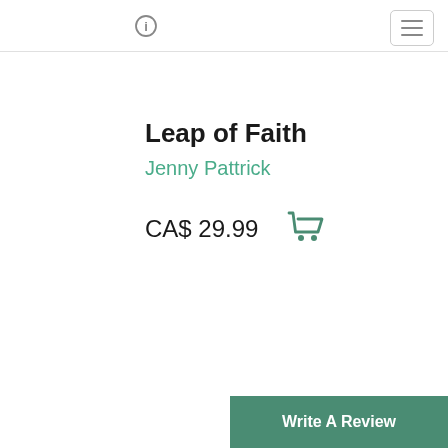ℹ [info icon] [hamburger menu]
Leap of Faith
Jenny Pattrick
CA$ 29.99
Write A Review